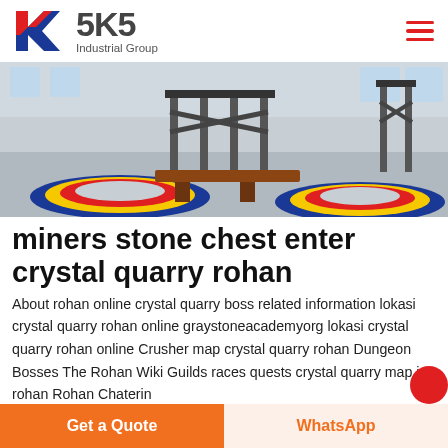SKS Industrial Group
[Figure (photo): Industrial facility interior showing vibratory or rotary processing equipment with colorful circular rings (blue, yellow, red) on the floor, metal framework structures, and a warehouse-like setting with windows in the background.]
miners stone chest enter crystal quarry rohan
About rohan online crystal quarry boss related information lokasi crystal quarry rohan online graystoneacademyorg lokasi crystal quarry rohan online Crusher map crystal quarry rohan Dungeon Bosses The Rohan Wiki Guilds races quests crystal quarry map in rohan Rohan Chaterin...